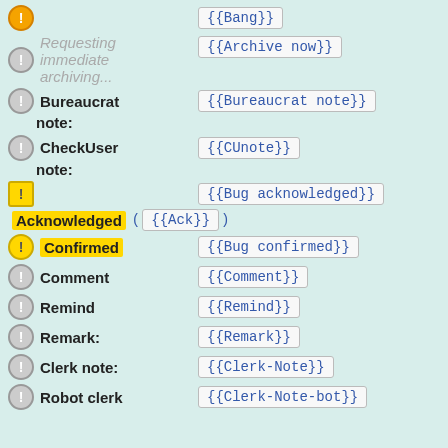{{Bang}}
Requesting immediate archiving... {{Archive now}}
Bureaucrat note: {{Bureaucrat note}}
CheckUser note: {{CUnote}}
Acknowledged {{Bug acknowledged}} ( {{Ack}} )
Confirmed {{Bug confirmed}}
Comment {{Comment}}
Remind {{Remind}}
Remark: {{Remark}}
Clerk note: {{Clerk-Note}}
Robot clerk {{Clerk-Note-bot}}